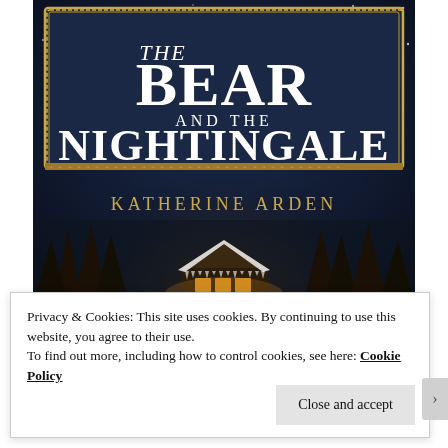[Figure (illustration): Book cover of 'The Bear and the Nightingale' by Katherine Arden. Dark navy blue background with falling snow. Ornate gold decorative border framing the title text in white serif font. Below the border is the author's name 'KATHERINE ARDEN' in gold letters. At the bottom is a snowy house/cottage with warm light glowing from windows, surrounded by dark trees.]
Privacy & Cookies: This site uses cookies. By continuing to use this website, you agree to their use.
To find out more, including how to control cookies, see here: Cookie Policy
Close and accept